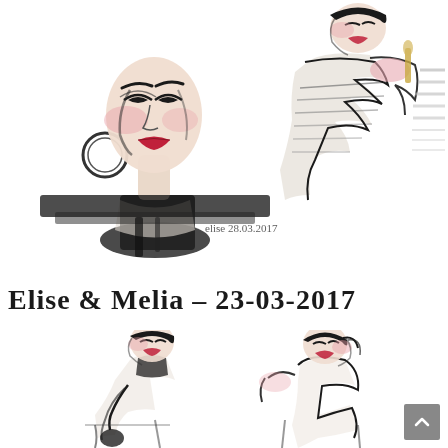[Figure (illustration): Fashion illustration sketch of two female figures with bold ink lines and pink/red accents, signed 'elise 28.03.2017'. Left figure shows a close-up portrait with hoop earrings, red lips, and dramatic eye makeup. Right figure shows a model in a ruffled/layered garment.]
Elise & Melia – 23-03-2017
[Figure (illustration): Two fashion illustration sketches of seated female figures with bold ink lines and pink/blush accents. Left figure seated with hand near face, right figure in an off-shoulder look.]